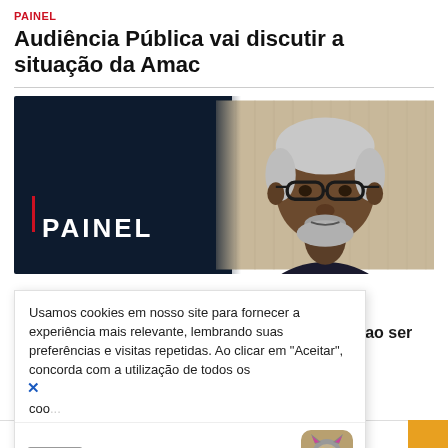PAINEL
Audiência Pública vai discutir a situação da Amac
[Figure (photo): Photo of an older Black man with glasses and grey beard, set against a dark navy background with the text PAINEL and a red vertical bar on the left side]
Usamos cookies em nosso site para fornecer a experiência mais relevante, lembrando suas preferências e visitas repetidas. Ao clicar em "Aceitar", concorda com a utilização de todos os coo...
Anúncio
ilidade ao ser
entista
am
or